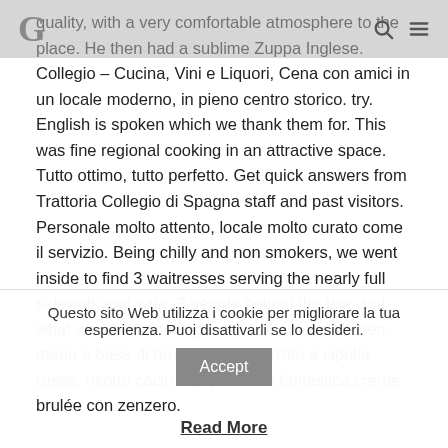quality, with a very comfortable atmosphere to the place. He then had a sublime Zuppa Inglese. Collegio – Cucina, Vini e Liquori, Cena con amici in un locale moderno, in pieno centro storico. try. English is spoken which we thank them for. This was fine regional cooking in an attractive space. Tutto ottimo, tutto perfetto. Get quick answers from Trattoria Collegio di Spagna staff and past visitors. Personale molto attento, locale molto curato come il servizio. Being chilly and non smokers, we went inside to find 3 waitresses serving the nearly full sidewalk and cafe, 3 people behind the bar, and what we...were looking for, a cook in the kitchen. menu a base di bruschette di burrata e cipolla rossa, risotto cacio e pepe e una fantastica creme brulée con zenzero.
Questo sito Web utilizza i cookie per migliorare la tua esperienza. Puoi disattivarli se lo desideri.
Read More